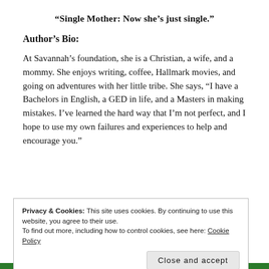“Single Mother: Now she’s just single.”
Author’s Bio:
At Savannah’s foundation, she is a Christian, a wife, and a mommy. She enjoys writing, coffee, Hallmark movies, and going on adventures with her little tribe. She says, “I have a Bachelors in English, a GED in life, and a Masters in making mistakes. I’ve learned the hard way that I’m not perfect, and I hope to use my own failures and experiences to help and encourage you.”
Privacy & Cookies: This site uses cookies. By continuing to use this website, you agree to their use. To find out more, including how to control cookies, see here: Cookie Policy
Close and accept